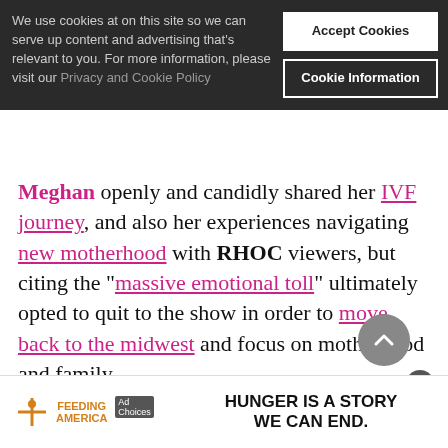We use cookies at on this site so we can serve up content and advertising that's relevant to you. For more information, please visit our Privacy and Cookie Policy
Accept Cookies | Cookie Information
Meghan openly and candidly shared her IVF journey, and also her experiences navigating new motherhood with RHOC viewers, but citing the "massive emotional toll" ultimately opted to quit to the show in order to move back to the midwest and focus on motherhood and family.
Congratulations Jim and Meghan on the new arrivals.
Megha... And O... RHOC And O...
[Figure (infographic): Feeding America ad banner: HUNGER IS A STORY WE CAN END.]